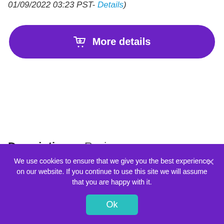01/09/2022 03:23 PST- Details)
[Figure (other): Purple 'More details' button with shopping cart icon]
Description   Reviews
We use cookies to ensure that we give you the best experience on our website. If you continue to use this site we will assume that you are happy with it.
Ok